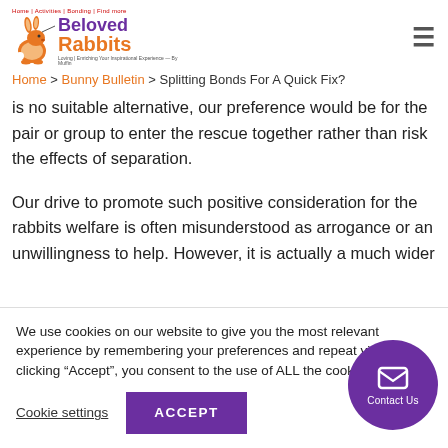Beloved Rabbits
Home > Bunny Bulletin > Splitting Bonds For A Quick Fix?
is no suitable alternative, our preference would be for the pair or group to enter the rescue together rather than risk the effects of separation.
Our drive to promote such positive consideration for the rabbits welfare is often misunderstood as arrogance or an unwillingness to help. However, it is actually a much wider
We use cookies on our website to give you the most relevant experience by remembering your preferences and repeat visits. By clicking “Accept”, you consent to the use of ALL the cookies.
Cookie settings | ACCEPT